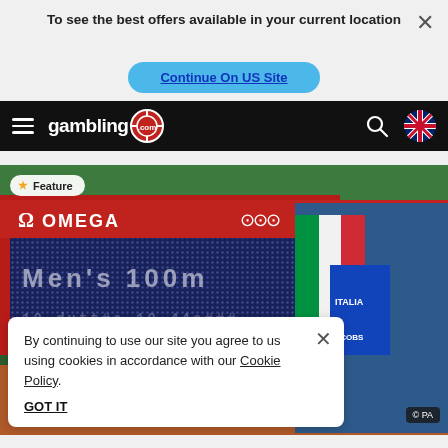To see the best offers available in your current location
Continue On US Site
[Figure (screenshot): gambling.com navigation bar with hamburger menu, logo with chip icon, search icon, and UK flag icon]
[Figure (photo): Olympic athlete Marcel Jacobs (Italia/Jacobs) holding Italian flag next to OMEGA timing board showing Men's 100m at Olympics]
Feature
By continuing to use our site you agree to us using cookies in accordance with our Cookie Policy.
GOT IT
© PA